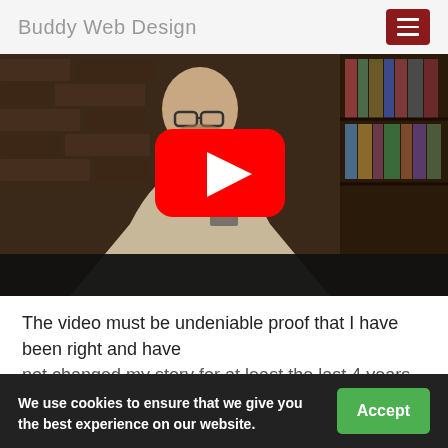Buddy Web Design
[Figure (screenshot): YouTube video thumbnail showing a man with glasses seated in front of a brick wall and bookshelves. A red YouTube play button is centered on the image.]
The video must be undeniable proof that I have been right and have not changed my story for at least the last 4 years on the subject of the
We use cookies to ensure that we give you the best experience on our website.